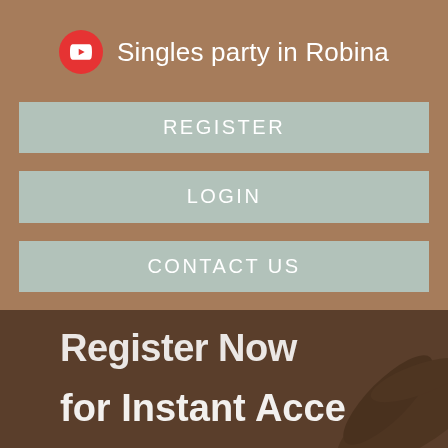Singles party in Robina
REGISTER
LOGIN
CONTACT US
[Figure (screenshot): Promotional banner image with dark brownish background and tropical leaf. White bold text reads 'Register Now for Instant Access' (partially cropped).]